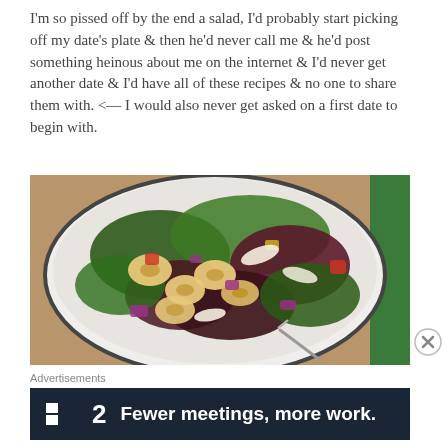I'm so pissed off by the end a salad, I'd probably start picking off my date's plate & then he'd never call me & he'd post something heinous about me on the internet & I'd never get another date & I'd have all of these recipes & no one to share them with. <— I would also never get asked on a first date to begin with.
[Figure (photo): A white bowl filled with a colorful tortellini salad containing mixed greens, red onion, yellow bell pepper, tomatoes, cheese shavings, and a fork. A green cloth napkin is visible on the right side.]
Advertisements
[Figure (screenshot): Dark navy advertisement banner showing a small square logo icon, the number '2', and bold white text reading 'Fewer meetings, more work.']